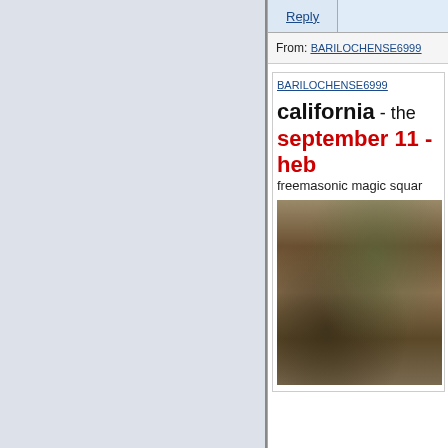[Figure (screenshot): Left panel showing a light blue-grey sidebar background]
Reply
From: BARILOCHENSE6999
BARILOCHENSE6999
california - the september 11 - heb freemasonic magic squar
[Figure (photo): An old painting or illustration showing architectural ruins with foliage, rendered in brown and green tones]